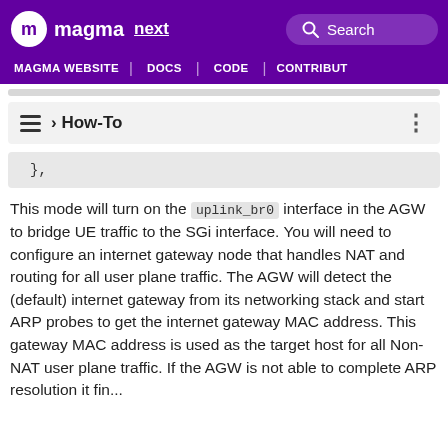magma next | Search | MAGMA WEBSITE | DOCS | CODE | CONTRIBUT
› How-To
},
This mode will turn on the uplink_br0 interface in the AGW to bridge UE traffic to the SGi interface. You will need to configure an internet gateway node that handles NAT and routing for all user plane traffic. The AGW will detect the (default) internet gateway from its networking stack and start ARP probes to get the internet gateway MAC address. This gateway MAC address is used as the target host for all Non-NAT user plane traffic. If the AGW is not able to detect ARP resolution it fin...